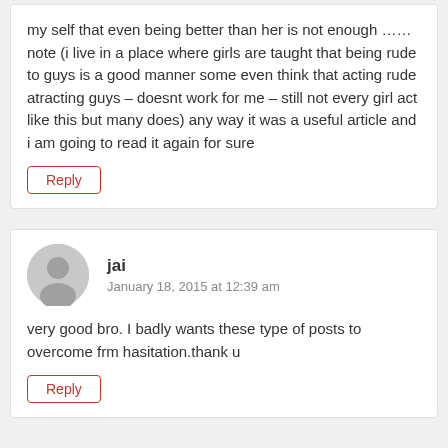my self that even being better than her is not enough …… note (i live in a place where girls are taught that being rude to guys is a good manner some even think that acting rude atracting guys – doesnt work for me – still not every girl act like this but many does) any way it was a useful article and i am going to read it again for sure
Reply
jai
January 18, 2015 at 12:39 am
very good bro. I badly wants these type of posts to overcome frm hasitation.thank u
Reply